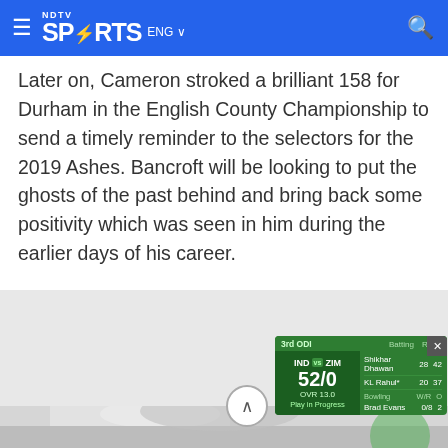NDTV Sports ENG
Later on, Cameron stroked a brilliant 158 for Durham in the English County Championship to send a timely reminder to the selectors for the 2019 Ashes. Bancroft will be looking to put the ghosts of the past behind and bring back some positivity which was seen in him during the earlier days of his career.
|  | Batting | R | B |
| --- | --- | --- | --- |
| IND vs ZIM | Shikhar Dhawan | 28 | 42 |
| 52/0 | KL Rahul* | 20 | 37 |
| OVR 13.0 | Bowling | W/R | O |
| Play in Progress | Brad Evans | 0/8 | 2 |
[Figure (photo): Photo of people in white clothing, partial view, at bottom of page]